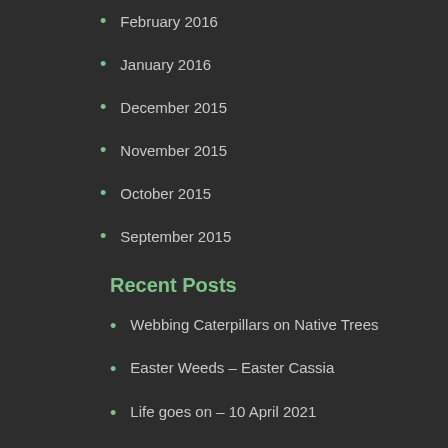February 2016
January 2016
December 2015
November 2015
October 2015
September 2015
Recent Posts
Webbing Caterpillars on Native Trees
Easter Weeds – Easter Cassia
Life goes on – 10 April 2021
Pipe full of Frogs – 6th March 2021
December 2019 – Shots of the Month
Planting 67 – 22nd March 2020